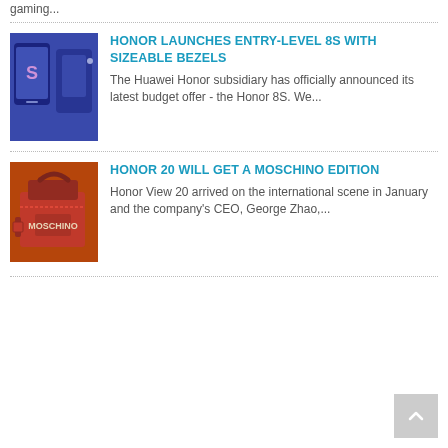gaming...
HONOR LAUNCHES ENTRY-LEVEL 8S WITH SIZEABLE BEZELS
The Huawei Honor subsidiary has officially announced its latest budget offer - the Honor 8S. We...
HONOR 20 WILL GET A MOSCHINO EDITION
Honor View 20 arrived on the international scene in January and the company's CEO, George Zhao,...